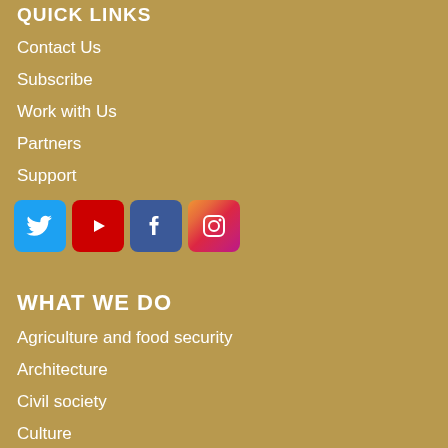QUICK LINKS
Contact Us
Subscribe
Work with Us
Partners
Support
[Figure (illustration): Row of four social media icons: Twitter (blue bird), YouTube (red play button), Facebook (blue f), Instagram (gradient camera)]
WHAT WE DO
Agriculture and food security
Architecture
Civil society
Culture